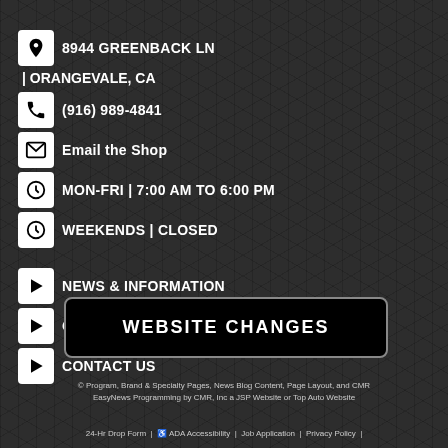8944 GREENBACK LN
| ORANGEVALE, CA
(916) 989-4841
Email the Shop
MON-FRI | 7:00 AM TO 6:00 PM
WEEKENDS | CLOSED
NEWS & INFORMATION
OUR SERVICES
CONTACT US
WEBSITE CHANGES
© Program, Brand & Specialty Pages, News Blog Content, Page Layout, and CMR EasyNews Programming by CMR, Inc a JSP Website or Top Auto Website
24-Hr Drop Form | ♿ ADA Accessibility | Job Application | Privacy Policy |